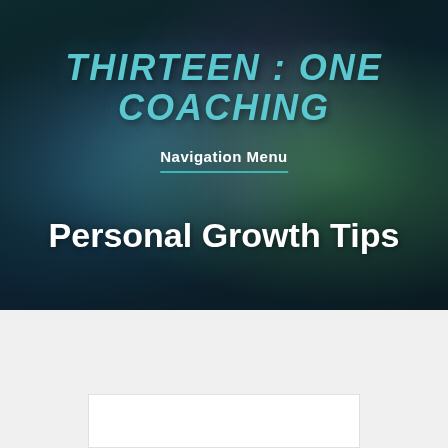[Figure (illustration): Dark bokeh background with teal, green, and purple blurred light circles on a deep teal/dark blue gradient background]
THIRTEEN : ONE COACHING
Navigation Menu
Personal Growth Tips